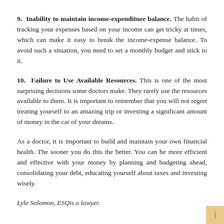9. Inability to maintain income-expenditure balance. The habit of tracking your expenses based on your income can get tricky at times, which can make it easy to break the income-expense balance. To avoid such a situation, you need to set a monthly budget and stick to it.
10. Failure to Use Available Resources. This is one of the most surprising decisions some doctors make. They rarely use the resources available to them. It is important to remember that you will not regret treating yourself to an amazing trip or investing a significant amount of money in the car of your dreams.
As a doctor, it is important to build and maintain your own financial health. The sooner you do this the better. You can be more efficient and effective with your money by planning and budgeting ahead, consolidating your debt, educating yourself about taxes and investing wisely.
Lyle Solomon, ESQis a lawyer.